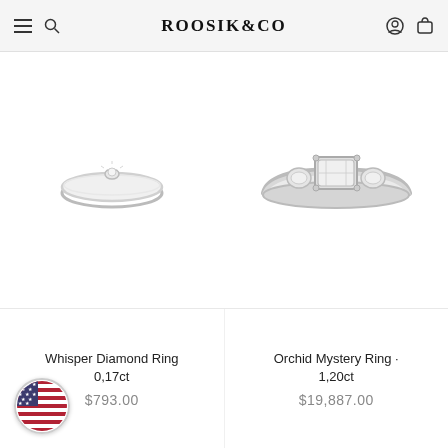ROOSIK&CO
[Figure (photo): Small solitaire diamond ring on white background — Whisper Diamond Ring 0.17ct]
[Figure (photo): Three-stone emerald cut diamond ring on white background — Orchid Mystery Ring 1.20ct]
Whisper Diamond Ring 0,17ct
$793.00
Orchid Mystery Ring · 1,20ct
$19,887.00
[Figure (illustration): Circular US flag badge/icon]